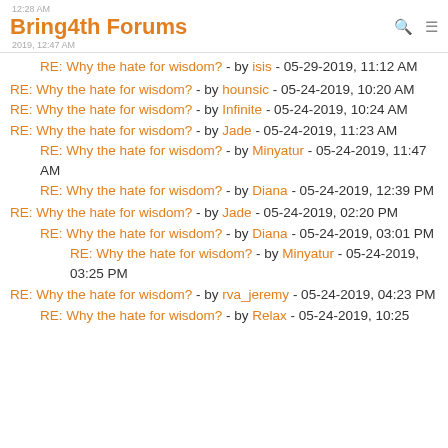Bring4th Forums
RE: Why the hate for wisdom? - by isis - 05-29-2019, 11:12 AM
RE: Why the hate for wisdom? - by hounsic - 05-24-2019, 10:20 AM
RE: Why the hate for wisdom? - by Infinite - 05-24-2019, 10:24 AM
RE: Why the hate for wisdom? - by Jade - 05-24-2019, 11:23 AM
RE: Why the hate for wisdom? - by Minyatur - 05-24-2019, 11:47 AM
RE: Why the hate for wisdom? - by Diana - 05-24-2019, 12:39 PM
RE: Why the hate for wisdom? - by Jade - 05-24-2019, 02:20 PM
RE: Why the hate for wisdom? - by Diana - 05-24-2019, 03:01 PM
RE: Why the hate for wisdom? - by Minyatur - 05-24-2019, 03:25 PM
RE: Why the hate for wisdom? - by rva_jeremy - 05-24-2019, 04:23 PM
RE: Why the hate for wisdom? - by Relax - 05-24-2019, 10:25